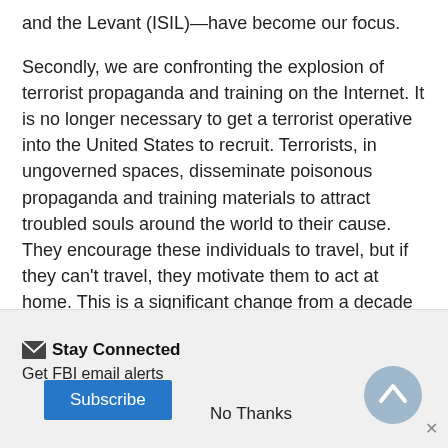and the Levant (ISIL)—have become our focus.
Secondly, we are confronting the explosion of terrorist propaganda and training on the Internet. It is no longer necessary to get a terrorist operative into the United States to recruit. Terrorists, in ungoverned spaces, disseminate poisonous propaganda and training materials to attract troubled souls around the world to their cause. They encourage these individuals to travel, but if they can't travel, they motivate them to act at home. This is a significant change from a decade ago.
We continue to identify individuals who seek to join
Stay Connected
Get FBI email alerts
Subscribe
No Thanks